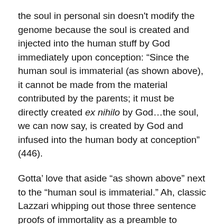the soul in personal sin doesn't modify the genome because the soul is created and injected into the human stuff by God immediately upon conception: “Since the human soul is immaterial (as shown above), it cannot be made from the material contributed by the parents; it must be directly created ex nihilo by God…the soul, we can now say, is created by God and infused into the human body at conception” (446).
Gotta’ love that aside “as shown above” next to the “human soul is immaterial.” Ah, classic Lazzari whipping out those three sentence proofs of immortality as a preamble to explaining cosmic order and then parenthetically referencing them later. That’s why we love you, man.
By the way, for those of you wondering what “at